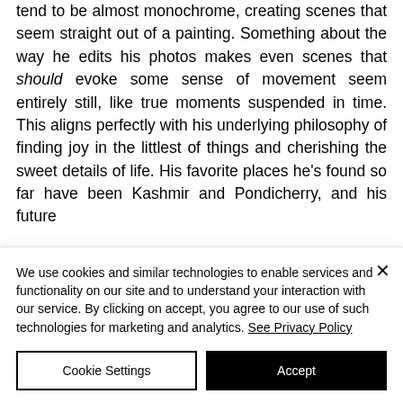tend to be almost monochrome, creating scenes that seem straight out of a painting. Something about the way he edits his photos makes even scenes that should evoke some sense of movement seem entirely still, like true moments suspended in time. This aligns perfectly with his underlying philosophy of finding joy in the littlest of things and cherishing the sweet details of life. His favorite places he's found so far have been Kashmir and Pondicherry, and his future
We use cookies and similar technologies to enable services and functionality on our site and to understand your interaction with our service. By clicking on accept, you agree to our use of such technologies for marketing and analytics. See Privacy Policy
Cookie Settings
Accept